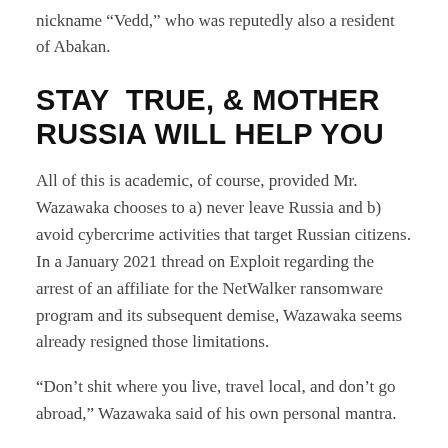nickname “Vedd,” who was reputedly also a resident of Abakan.
STAY TRUE, & MOTHER RUSSIA WILL HELP YOU
All of this is academic, of course, provided Mr. Wazawaka chooses to a) never leave Russia and b) avoid cybercrime activities that target Russian citizens. In a January 2021 thread on Exploit regarding the arrest of an affiliate for the NetWalker ransomware program and its subsequent demise, Wazawaka seems already resigned those limitations.
“Don’t shit where you live, travel local, and don’t go abroad,” Wazawaka said of his own personal mantra.
Which might explain why Wazawaka is so lackadaisical